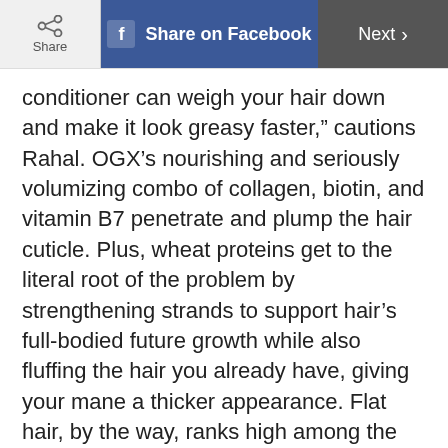Share | Share on Facebook | Next >
conditioner can weigh your hair down and make it look greasy faster,” cautions Rahal. OGX’s nourishing and seriously volumizing combo of collagen, biotin, and vitamin B7 penetrate and plump the hair cuticle. Plus, wheat proteins get to the literal root of the problem by strengthening strands to support hair’s full-bodied future growth while also fluffing the hair you already have, giving your mane a thicker appearance. Flat hair, by the way, ranks high among the hair mistakes that age your face.
5/16